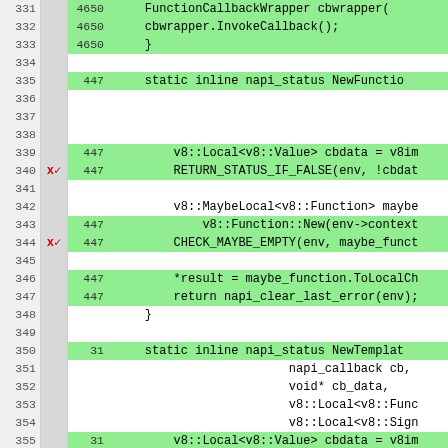[Figure (screenshot): Code coverage viewer showing lines 331-356 of source code with line numbers, coverage counts, marker symbols (x checkmarks in red for uncovered/covered lines), and highlighted code lines in green (covered) or white/yellow (uncovered). Code relates to Node.js NAPI function wrappers including FunctionCallbackWrapper, NewFunction, NewTemplate and related calls.]